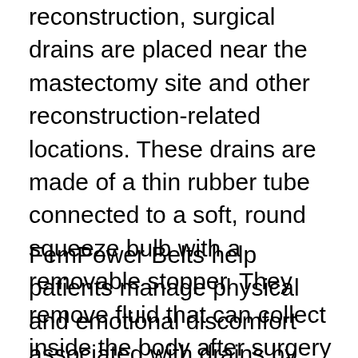reconstruction, surgical drains are placed near the mastectomy site and other reconstruction-related locations. These drains are made of a thin rubber tube connected to a soft, round squeeze bulb with a removable stopper. They remove fluid that can collect inside the body after surgery which can increase the chance of infection.
FemPower Belts help patients manage physical and emotional discomfort associated with drains by keeping them neatly around the waist and concealing them with soft fabric items like...